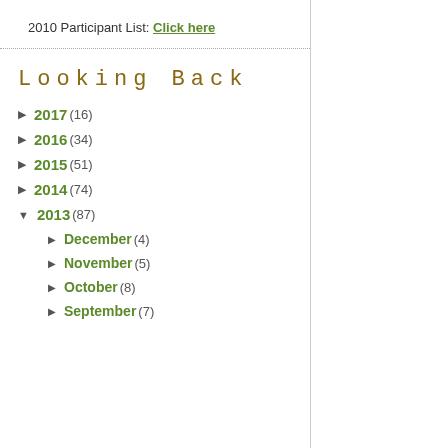2010 Participant List: Click here
Looking Back
► 2017 (16)
► 2016 (34)
► 2015 (51)
► 2014 (74)
▼ 2013 (87)
► December (4)
► November (5)
► October (8)
► September (7)